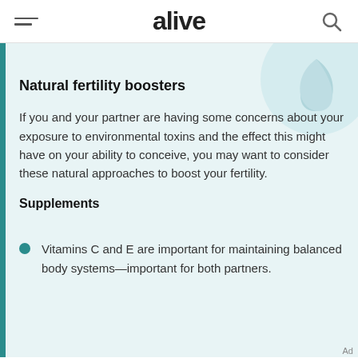alive
Natural fertility boosters
If you and your partner are having some concerns about your exposure to environmental toxins and the effect this might have on your ability to conceive, you may want to consider these natural approaches to boost your fertility.
Supplements
Vitamins C and E are important for maintaining balanced body systems—important for both partners.